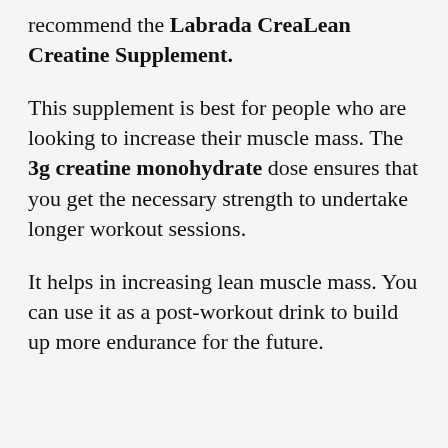recommend the Labrada CreaLean Creatine Supplement.
This supplement is best for people who are looking to increase their muscle mass. The 3g creatine monohydrate dose ensures that you get the necessary strength to undertake longer workout sessions.
It helps in increasing lean muscle mass. You can use it as a post-workout drink to build up more endurance for the future.